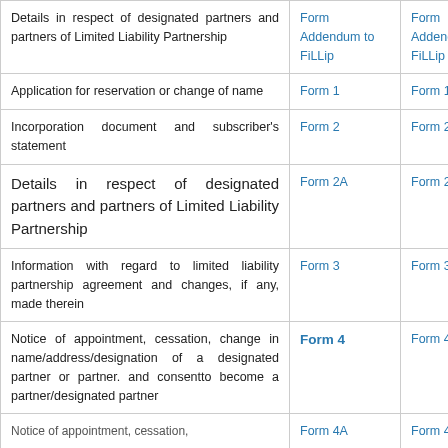| Details in respect of designated partners and partners of Limited Liability Partnership | Form Addendum to FiLLip | Form Addendum to FiLLip |
| Application for reservation or change of name | Form 1 | Form 1 |
| Incorporation document and subscriber's statement | Form 2 | Form 2 |
| Details in respect of designated partners and partners of Limited Liability Partnership | Form 2A | Form 2A |
| Information with regard to limited liability partnership agreement and changes, if any, made therein | Form 3 | Form 3 |
| Notice of appointment, cessation, change in name/address/designation of a designated partner or partner. and consentto become a partner/designated partner | Form 4 | Form 4 |
| Notice of appointment, cessation... | Form 4A | Form 4A |